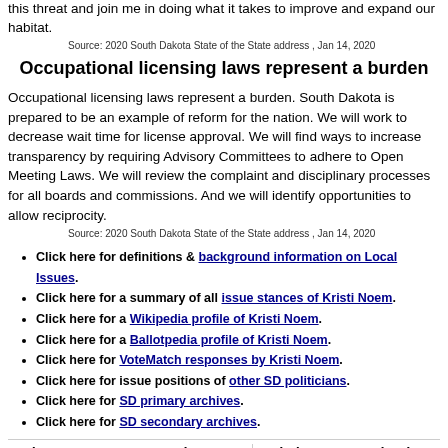this threat and join me in doing what it takes to improve and expand our habitat.
Source: 2020 South Dakota State of the State address , Jan 14, 2020
Occupational licensing laws represent a burden
Occupational licensing laws represent a burden. South Dakota is prepared to be an example of reform for the nation. We will work to decrease wait time for license approval. We will find ways to increase transparency by requiring Advisory Committees to adhere to Open Meeting Laws. We will review the complaint and disciplinary processes for all boards and commissions. And we will identify opportunities to allow reciprocity.
Source: 2020 South Dakota State of the State address , Jan 14, 2020
Click here for definitions & background information on Local Issues.
Click here for a summary of all issue stances of Kristi Noem.
Click here for a Wikipedia profile of Kristi Noem.
Click here for a Ballotpedia profile of Kristi Noem.
Click here for VoteMatch responses by Kristi Noem.
Click here for issue positions of other SD politicians.
Click here for SD primary archives.
Click here for SD secondary archives.
Other governors on Local Issues:
Kristi Noem on other issues
SD    Gubernatorial    Gubernatorial    Abortion